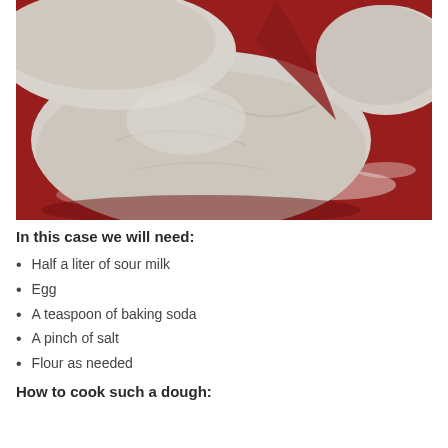[Figure (photo): Dough pieces on a red floured surface, close-up photo showing two lumps of white flour dough.]
In this case we will need:
Half a liter of sour milk
Egg
A teaspoon of baking soda
A pinch of salt
Flour as needed
How to cook such a dough: